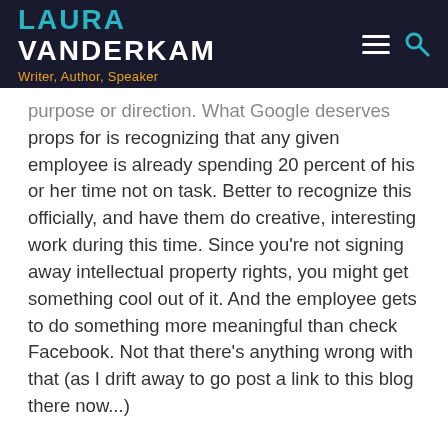LAURA VANDERKAM — Writer, Author, Speaker
purpose or direction. What Google deserves props for is recognizing that any given employee is already spending 20 percent of his or her time not on task. Better to recognize this officially, and have them do creative, interesting work during this time. Since you're not signing away intellectual property rights, you might get something cool out of it. And the employee gets to do something more meaningful than check Facebook. Not that there's anything wrong with that (as I drift away to go post a link to this blog there now...)